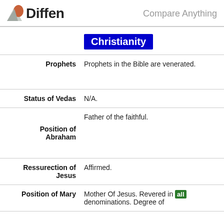Diffen — Compare Anything
|  | Christianity | Judaism |
| --- | --- | --- |
| Prophets | Prophets in the Bible are venerated. | Mos... Prop... Jew... |
| Status of Vedas | N/A. | N/A |
| Position of Abraham | Father of the faithful. | The... the... was... did n... poly... |
| Ressurection of Jesus | Affirmed. | Den... |
| Position of Mary | Mother Of Jesus. Revered in all denominations. Degree of... | Not... beli... |